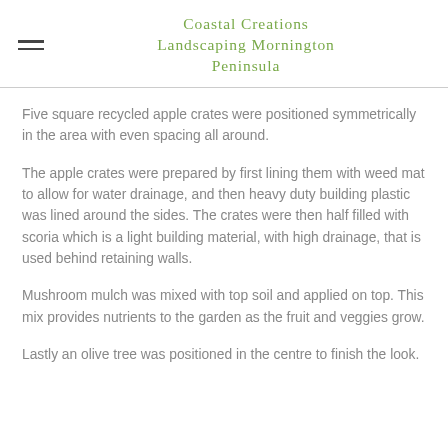Coastal Creations Landscaping Mornington Peninsula
Five square recycled apple crates were positioned symmetrically in the area with even spacing all around.
The apple crates were prepared by first lining them with weed mat to allow for water drainage, and then heavy duty building plastic was lined around the sides. The crates were then half filled with scoria which is a light building material, with high drainage, that is used behind retaining walls.
Mushroom mulch was mixed with top soil and applied on top. This mix provides nutrients to the garden as the fruit and veggies grow.
Lastly an olive tree was positioned in the centre to finish the look.